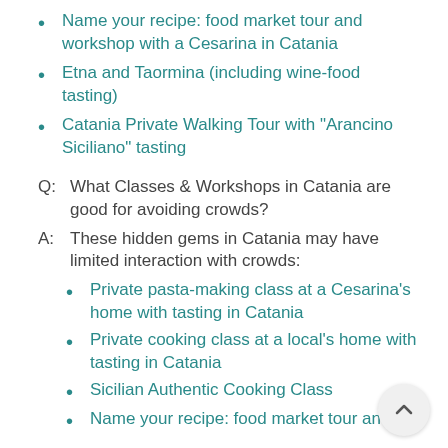Name your recipe: food market tour and workshop with a Cesarina in Catania
Etna and Taormina (including wine-food tasting)
Catania Private Walking Tour with "Arancino Siciliano" tasting
Q:  What Classes & Workshops in Catania are good for avoiding crowds?
A:  These hidden gems in Catania may have limited interaction with crowds:
Private pasta-making class at a Cesarina's home with tasting in Catania
Private cooking class at a local's home with tasting in Catania
Sicilian Authentic Cooking Class
Name your recipe: food market tour and